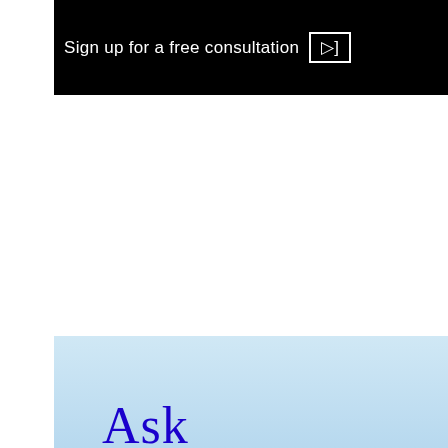[Figure (infographic): Black banner advertisement with white text reading 'Sign up for a free consultation' and a bracketed arrow button on the right]
[Figure (infographic): Light blue gradient box with 'Ask' in blue serif text and 'APE' in large red bold serif text below it]